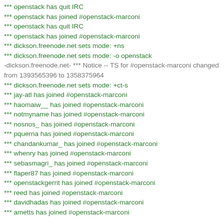*** openstack has quit IRC
*** openstack has joined #openstack-marconi
*** openstack has quit IRC
*** openstack has joined #openstack-marconi
*** dickson.freenode.net sets mode: +ns
*** dickson.freenode.net sets mode: -o openstack
-dickson.freenode.net- *** Notice -- TS for #openstack-marconi changed from 1393565396 to 1358375964
*** dickson.freenode.net sets mode: +ct-s
*** jay-atl has joined #openstack-marconi
*** haomaiw__ has joined #openstack-marconi
*** notmyname has joined #openstack-marconi
*** nosnos_ has joined #openstack-marconi
*** pquerna has joined #openstack-marconi
*** chandankumar_ has joined #openstack-marconi
*** whenry has joined #openstack-marconi
*** sebasmagri_ has joined #openstack-marconi
*** flaper87 has joined #openstack-marconi
*** openstackgerrit has joined #openstack-marconi
*** reed has joined #openstack-marconi
*** davidhadas has joined #openstack-marconi
*** ametts has joined #openstack-marconi